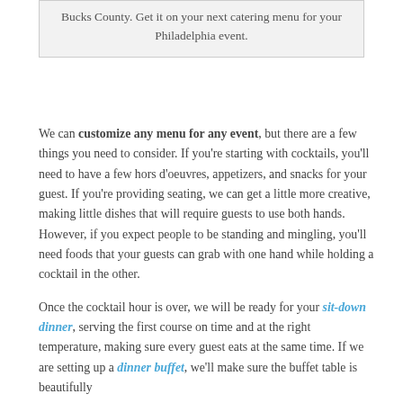Bucks County. Get it on your next catering menu for your Philadelphia event.
We can customize any menu for any event, but there are a few things you need to consider. If you're starting with cocktails, you'll need to have a few hors d'oeuvres, appetizers, and snacks for your guest. If you're providing seating, we can get a little more creative, making little dishes that will require guests to use both hands. However, if you expect people to be standing and mingling, you'll need foods that your guests can grab with one hand while holding a cocktail in the other.
Once the cocktail hour is over, we will be ready for your sit-down dinner, serving the first course on time and at the right temperature, making sure every guest eats at the same time. If we are setting up a dinner buffet, we'll make sure the buffet table is beautifully